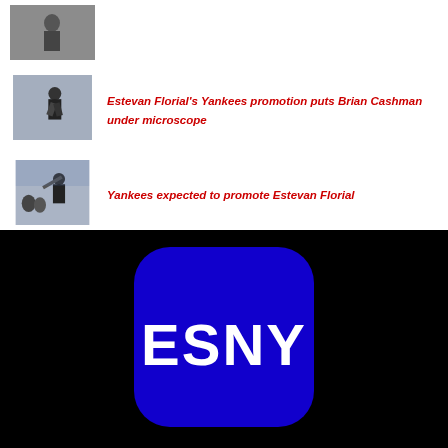[Figure (photo): Baseball player thumbnail image (top, partial)]
[Figure (photo): Baseball player running, Yankees uniform thumbnail]
Estevan Florial's Yankees promotion puts Brian Cashman under microscope
[Figure (photo): Baseball players batting, thumbnail image]
Yankees expected to promote Estevan Florial
[Figure (logo): ESNY logo — white bold text 'ESNY' on blue rounded rectangle, black background]